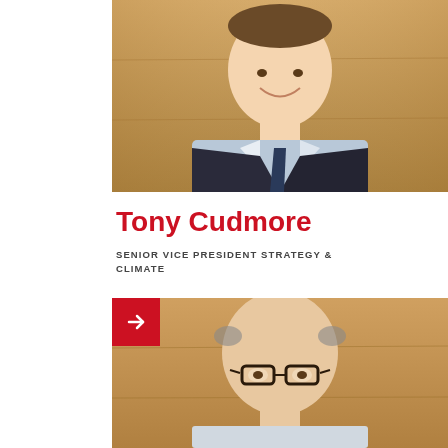[Figure (photo): Professional headshot of Tony Cudmore, a man in a dark suit and light blue shirt with a patterned tie, smiling, against a wooden panel background]
Tony Cudmore
SENIOR VICE PRESIDENT STRATEGY & CLIMATE
[Figure (photo): Professional headshot of another person, a bald man with dark-rimmed glasses, against a wooden panel background, with a red arrow navigation button overlay]